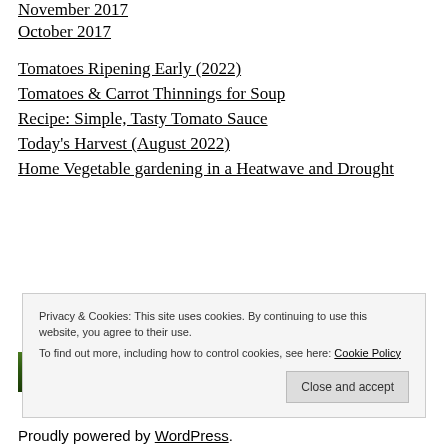November 2017
October 2017
Tomatoes Ripening Early (2022)
Tomatoes & Carrot Thinnings for Soup
Recipe: Simple, Tasty Tomato Sauce
Today's Harvest (August 2022)
Home Vegetable gardening in a Heatwave and Drought
Privacy & Cookies: This site uses cookies. By continuing to use this website, you agree to their use. To find out more, including how to control cookies, see here: Cookie Policy
Proudly powered by WordPress.